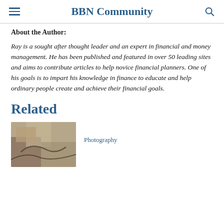BBN Community
About the Author:
Ray is a sought after thought leader and an expert in financial and money management. He has been published and featured in over 50 leading sites and aims to contribute articles to help novice financial planners. One of his goals is to impart his knowledge in finance to educate and help ordinary people create and achieve their financial goals.
Related
[Figure (photo): A photo thumbnail showing what appears to be a painted surface or artistic photograph, partially visible]
Photography